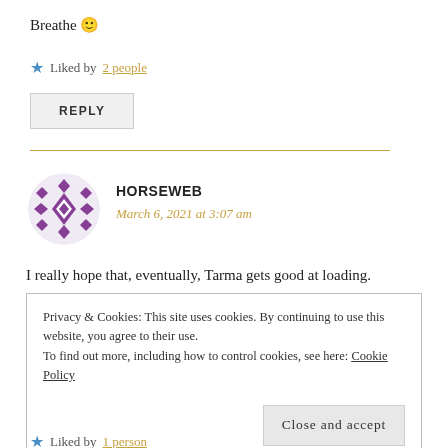Breathe 🙂
★ Liked by 2 people
REPLY
HORSEWEB
March 6, 2021 at 3:07 am
I really hope that, eventually, Tarma gets good at loading.
Privacy & Cookies: This site uses cookies. By continuing to use this website, you agree to their use.
To find out more, including how to control cookies, see here: Cookie Policy
Close and accept
★ Liked by 1 person